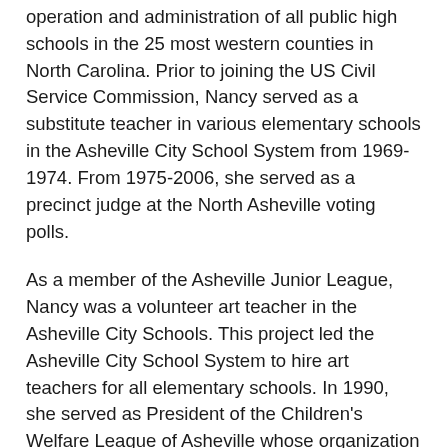operation and administration of all public high schools in the 25 most western counties in North Carolina. Prior to joining the US Civil Service Commission, Nancy served as a substitute teacher in various elementary schools in the Asheville City School System from 1969-1974. From 1975-2006, she served as a precinct judge at the North Asheville voting polls.
As a member of the Asheville Junior League, Nancy was a volunteer art teacher in the Asheville City Schools. This project led the Asheville City School System to hire art teachers for all elementary schools. In 1990, she served as President of the Children's Welfare League of Asheville whose organization is committed to improving the educational opportunities and enrich the lives of children in Buncombe County.